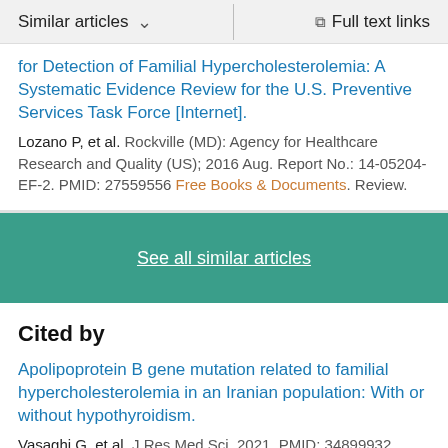Similar articles   Full text links
for Detection of Familial Hypercholesterolemia: A Systematic Evidence Review for the U.S. Preventive Services Task Force [Internet].
Lozano P, et al. Rockville (MD): Agency for Healthcare Research and Quality (US); 2016 Aug. Report No.: 14-05204-EF-2. PMID: 27559556 Free Books & Documents. Review.
See all similar articles
Cited by
Apolipoprotein B gene mutation related to familial hypercholesterolemia in an Iranian population: With or without hypothyroidism.
Vasaghi G, et al. J Res Med Sci. 2021. PMID: 34899932